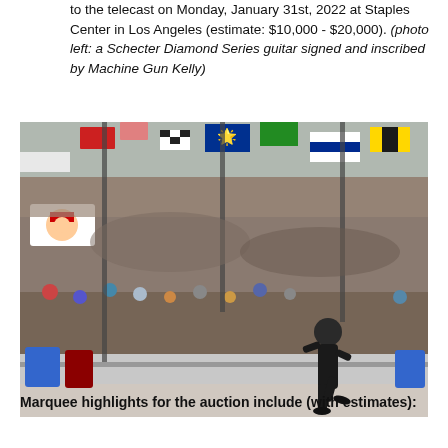to the telecast on Monday, January 31st, 2022 at Staples Center in Los Angeles (estimate: $10,000 - $20,000). (photo left: a Schecter Diamond Series guitar signed and inscribed by Machine Gun Kelly)
[Figure (photo): A performer in a black suit on stage facing a massive crowd with many flags from different countries waving above the audience at a large outdoor concert or festival.]
Marquee highlights for the auction include (with estimates):